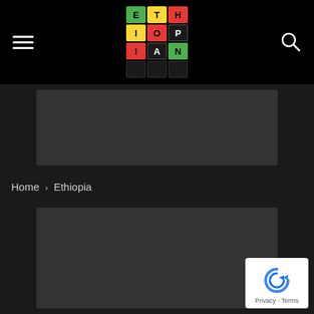Ethiopian - navigation bar with hamburger menu, logo, and search icon
[Figure (screenshot): Dark banner advertisement placeholder area]
Home › Ethiopia
[Figure (photo): Main content image placeholder for Ethiopia category page]
[Figure (logo): Google reCAPTCHA badge with Privacy and Terms links]